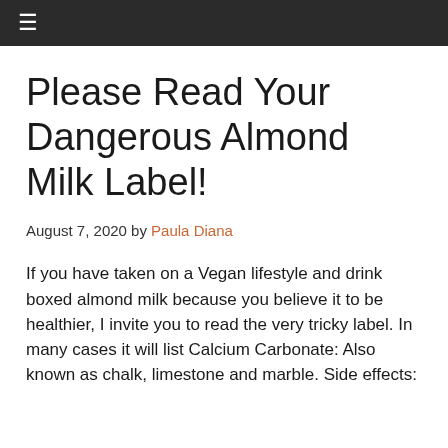☰
Please Read Your Dangerous Almond Milk Label!
August 7, 2020 by Paula Diana
If you have taken on a Vegan lifestyle and drink boxed almond milk because you believe it to be healthier, I invite you to read the very tricky label. In many cases it will list Calcium Carbonate: Also known as chalk, limestone and marble. Side effects: